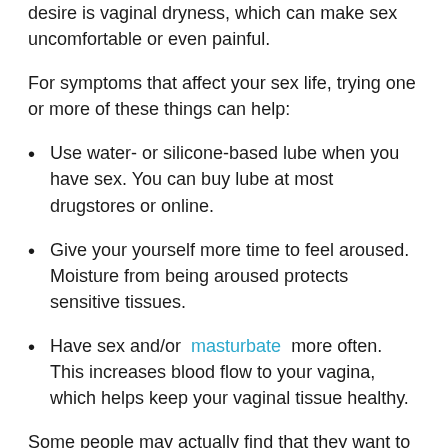desire is vaginal dryness, which can make sex uncomfortable or even painful.
For symptoms that affect your sex life, trying one or more of these things can help:
Use water- or silicone-based lube when you have sex. You can buy lube at most drugstores or online.
Give your yourself more time to feel aroused. Moisture from being aroused protects sensitive tissues.
Have sex and/or masturbate more often. This increases blood flow to your vagina, which helps keep your vaginal tissue healthy.
Some people may actually find that they want to have sex MORE after menopause, because they dont have to worry